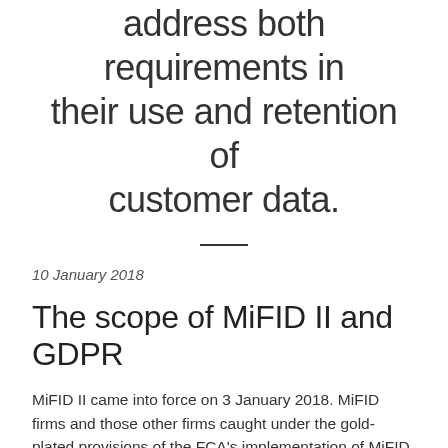address both requirements in their use and retention of customer data.
10 January 2018
The scope of MiFID II and GDPR
MiFID II came into force on 3 January 2018. MiFID firms and those other firms caught under the gold-plated provisions of the FCA’s implementation of MiFID II will be required to comply with the new rules, which include best execution and client order handling requirements and an enhanced data retention regime (including requirements to record electronic communications and telephone conversations).